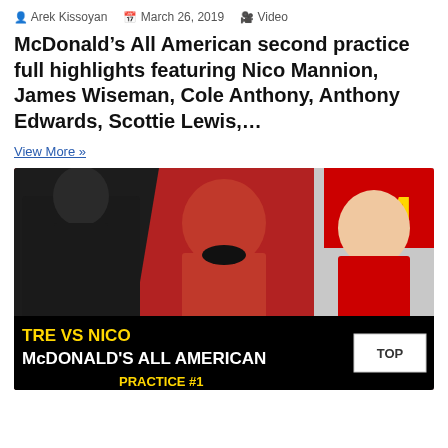Arek Kissoyan   March 26, 2019   Video
McDonald’s All American second practice full highlights featuring Nico Mannion, James Wiseman, Cole Anthony, Anthony Edwards, Scottie Lewis,…
View More »
[Figure (photo): Video thumbnail showing three basketball players at McDonald’s All American game practice. Bottom text overlay reads 'TRE VS NICO' in yellow and 'McDONALD’S ALL AMERICAN' in white and 'PRACTICE #1' in yellow. A yellow arrow points to the right player. A white 'TOP' button appears in bottom-right corner.]